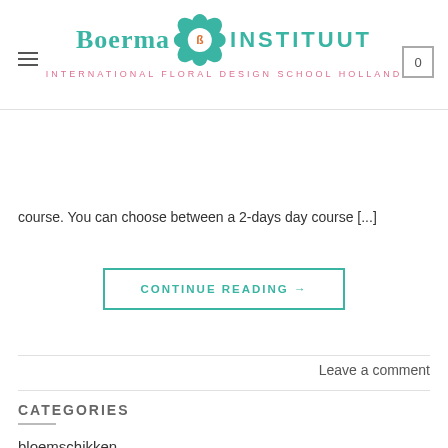Boerma INSTITUUT — INTERNATIONAL FLORAL DESIGN SCHOOL HOLLAND
suitable for everyone who would like to be able to create a variety of different hand-tied bouquets. It is also a very appropriate refresher course for existing florists to update knowledge. Some experience with flowers is required for this course. You can choose between a 2-days day course [...]
CONTINUE READING →
Leave a comment
CATEGORIES
bloemschikken
Bloemschikschool